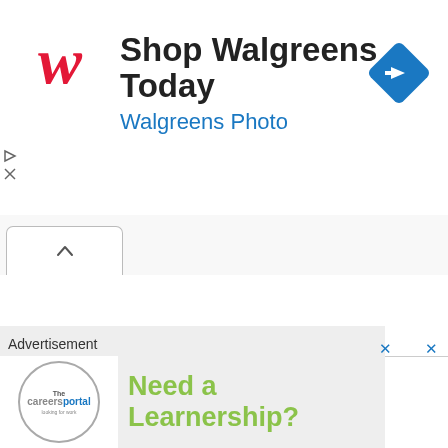[Figure (screenshot): Walgreens advertisement banner with red W logo, 'Shop Walgreens Today' title, 'Walgreens Photo' subtitle in blue, and a blue navigation diamond icon on the right]
[Figure (screenshot): Browser tab bar with a tab showing a caret/chevron up arrow icon]
Advertisement
Advertisement
[Figure (screenshot): CareersPortal advertisement with logo and 'Need a Learnership?' text in green]